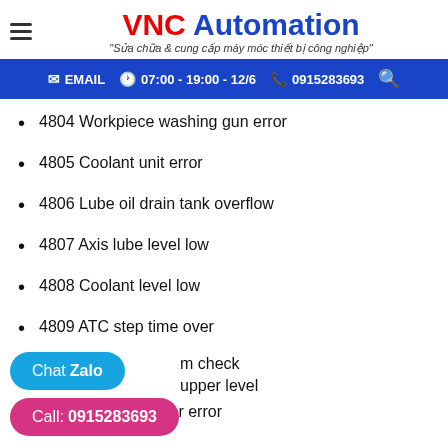VNC Automation - "Sửa chữa & cung cấp máy móc thiết bị công nghiệp"
EMAIL  07:00 - 19:00 - 12/6  0915283693
4804 Workpiece washing gun error
4805 Coolant unit error
4806 Lube oil drain tank overflow
4807 Axis lube level low
4808 Coolant level low
4809 ATC step time over
...m check
...upper level
4812 Chip crusher error